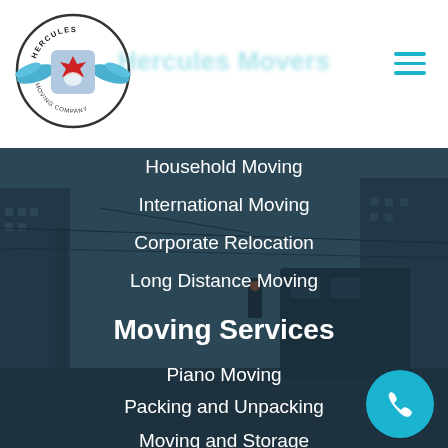[Figure (logo): Hercules Moving Company circular logo with wings and Canadian maple leaf]
Hercules Movers
[Figure (photo): City street scene background with buildings and a bus, overlaid with dark semi-transparent blue-grey tint]
Household Moving
International Moving
Corporate Relocation
Long Distance Moving
Moving Services
Piano Moving
Packing and Unpacking
Moving and Storage
Moving From
Moving Network